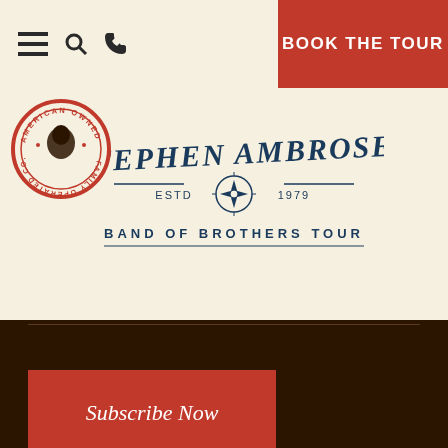≡  🔍  📞   BOOK THE TOUR
[Figure (logo): Stephen Ambrose Band of Brothers Tour logo with compass rose, ESTD 1979, and American Owned Family Operated Co. badge]
Subscribe Now
This site is protected by reCAPTCHA and the Google Privacy Policy and Terms of Service apply.
This website uses cookies.
Accept cookies and close this message
See our Privacy Policy